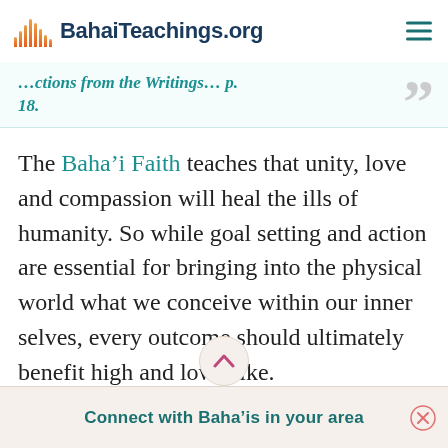BahaiTeachings.org
...ctions from the Writings... p. 18.
The Baha'i Faith teaches that unity, love and compassion will heal the ills of humanity. So while goal setting and action are essential for bringing into the physical world what we conceive within our inner selves, every outcome should ultimately benefit high and low alike.
Connect with Baha'is in your area